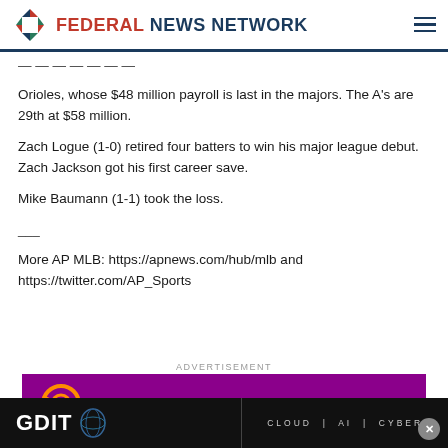FEDERAL NEWS NETWORK
Orioles, whose $48 million payroll is last in the majors. The A's are 29th at $58 million.
Zach Logue (1-0) retired four batters to win his major league debut. Zach Jackson got his first career save.
Mike Baumann (1-1) took the loss.
___
More AP MLB: https://apnews.com/hub/mlb and https://twitter.com/AP_Sports
ADVERTISEMENT
[Figure (other): Apptio advertisement banner with purple background and Apptio logo]
[Figure (other): GDIT advertisement banner showing GDIT logo with jellyfish image and text CLOUD | AI | CYBER]